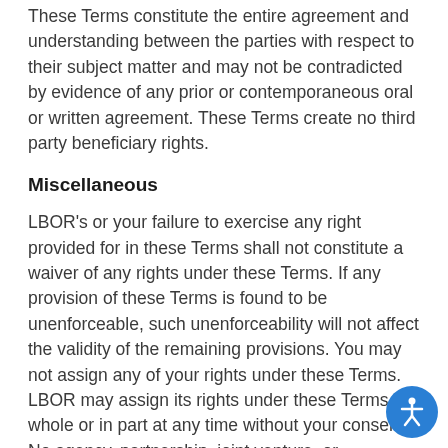These Terms constitute the entire agreement and understanding between the parties with respect to their subject matter and may not be contradicted by evidence of any prior or contemporaneous oral or written agreement. These Terms create no third party beneficiary rights.
Miscellaneous
LBOR's or your failure to exercise any right provided for in these Terms shall not constitute a waiver of any rights under these Terms. If any provision of these Terms is found to be unenforceable, such unenforceability will not affect the validity of the remaining provisions. You may not assign any of your rights under these Terms. LBOR may assign its rights under these Terms in whole or in part at any time without your consent. No agency, partnership, joint venture, or employment is created as a result of these Terms.